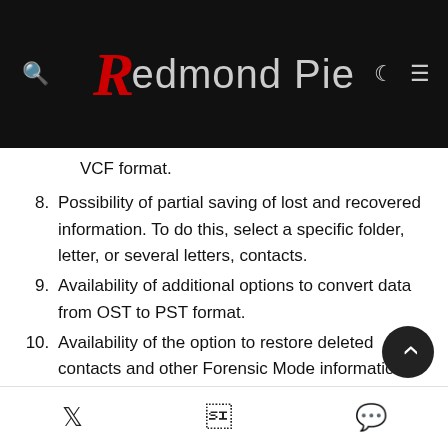Redmond Pie
VCF format.
8. Possibility of partial saving of lost and recovered information. To do this, select a specific folder, letter, or several letters, contacts.
9. Availability of additional options to convert data from OST to PST format.
10. Availability of the option to restore deleted contacts and other Forensic Mode information objects from PST, OST files.
11. Built-in ability to search for files on disk space.
12. Online tips describing the operation of the utility.
13. Availability of a multilingual interface (support for 14 different languages).
Twitter | Facebook | WhatsApp